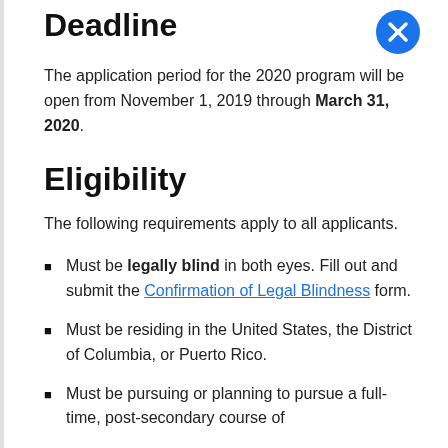Deadline
The application period for the 2020 program will be open from November 1, 2019 through March 31, 2020.
Eligibility
The following requirements apply to all applicants.
Must be legally blind in both eyes. Fill out and submit the Confirmation of Legal Blindness form.
Must be residing in the United States, the District of Columbia, or Puerto Rico.
Must be pursuing or planning to pursue a full-time, post-secondary course of